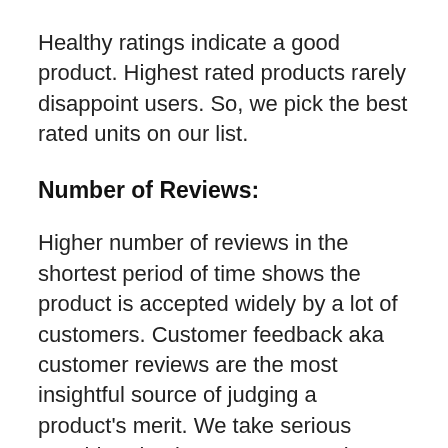Healthy ratings indicate a good product. Highest rated products rarely disappoint users. So, we pick the best rated units on our list.
Number of Reviews:
Higher number of reviews in the shortest period of time shows the product is accepted widely by a lot of customers. Customer feedback aka customer reviews are the most insightful source of judging a product's merit. We take serious consideration into customer reviews and total numbers while [Back To Top] them.